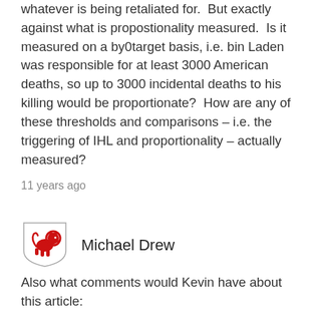whatever is being retaliated for.  But exactly against what is propostionality measured.  Is it measured on a by0target basis, i.e. bin Laden was responsible for at least 3000 American deaths, so up to 3000 incidental deaths to his killing would be proportionate?  How are any of these thresholds and comparisons – i.e. the triggering of IHL and proportionality – actually measured?
11 years ago
[Figure (illustration): Red heraldic lion on a shield crest avatar icon for user Michael Drew]
Michael Drew
Also what comments would Kevin have about this article: http://afpak.foreignpolicy.com/posts/2